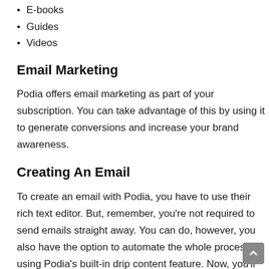E-books
Guides
Videos
Email Marketing
Podia offers email marketing as part of your subscription. You can take advantage of this by using it to generate conversions and increase your brand awareness.
Creating An Email
To create an email with Podia, you have to use their rich text editor. But, remember, you're not required to send emails straight away. You can do, however, you also have the option to automate the whole process by using Podia's built-in drip content feature. Now, you'll still have to write the emails in advance of sending them, but it's worth it because of the ability to schedule.